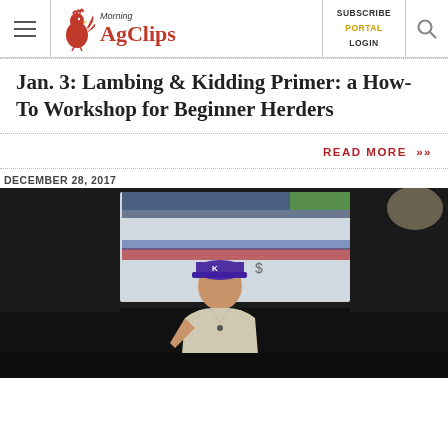Morning AgClips — SUBSCRIBE PORTAL LOGIN
Jan. 3: Lambing & Kidding Primer: a How-To Workshop for Beginner Herders
READ MORE »
DECEMBER 28, 2017
[Figure (photo): A man wearing a purple K-State cap and light shirt stands at a podium or table during a presentation, with a projected screen visible behind him. He appears to be demonstrating something with a red/pink object in the foreground.]